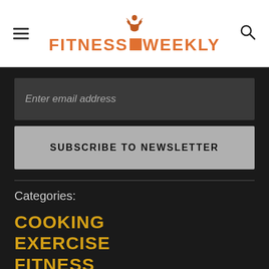[Figure (logo): Fitness Weekly logo with muscular figure icon above the text. Text reads FITNESS (orange) followed by an orange square, then WEEKLY (orange), all in bold uppercase letters.]
Enter email address
SUBSCRIBE TO NEWSLETTER
Categories:
COOKING
EXERCISE
FITNESS